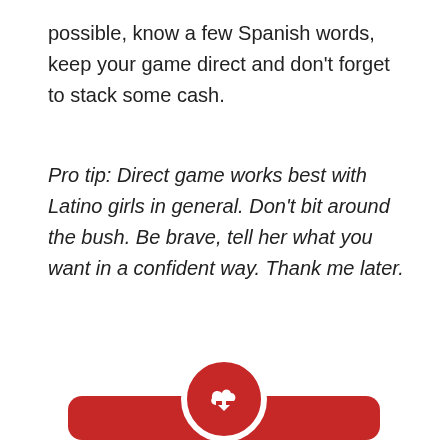possible, know a few Spanish words, keep your game direct and don't forget to stack some cash.
Pro tip: Direct game works best with Latino girls in general. Don't bit around the bush. Be brave, tell her what you want in a confident way. Thank me later.
[Figure (illustration): Red rounded rectangle box with a white-bordered red circle at top containing a white download/cloud icon, and bold white underlined text: 'I will grab your current Tinder match rate by the HORNS and accelerate it to an incredible height. For FREE. CLICK HERE']